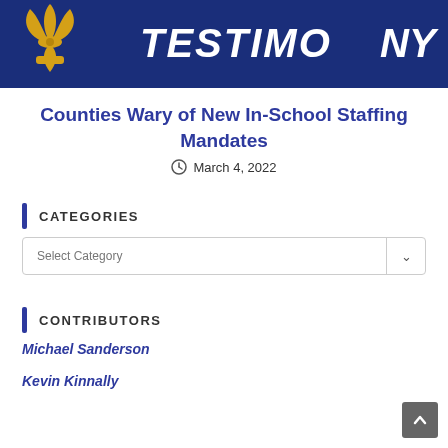[Figure (illustration): Dark navy blue banner with a golden fleur-de-lis emblem on the left and the word 'TESTIMONY' in large white bold italic text on the right]
Counties Wary of New In-School Staffing Mandates
March 4, 2022
CATEGORIES
Select Category
CONTRIBUTORS
Michael Sanderson
Kevin Kinnally